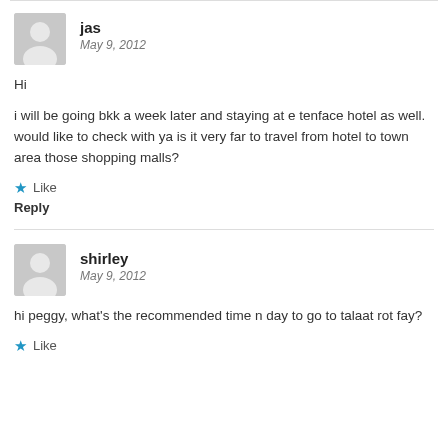jas
May 9, 2012
Hi
i will be going bkk a week later and staying at e tenface hotel as well. would like to check with ya is it very far to travel from hotel to town area those shopping malls?
Like
Reply
shirley
May 9, 2012
hi peggy, what's the recommended time n day to go to talaat rot fay?
Like